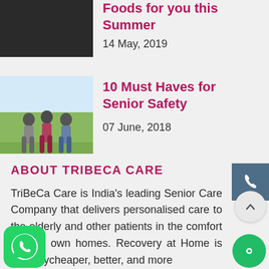Foods for you this Summer
14 May, 2019
[Figure (photo): Thumbnail image for the article about foods for summer]
[Figure (photo): Elderly people doing exercises outdoors - seniors dancing/stretching together]
10 Must Haves for Senior Safety
07 June, 2018
ABOUT TRIBECA CARE
TriBeCa Care is India's leading Senior Care Company that delivers personalised care to the elderly and other patients in the comfort of their own homes. Recovery at Home is typicallycheaper, better, and more